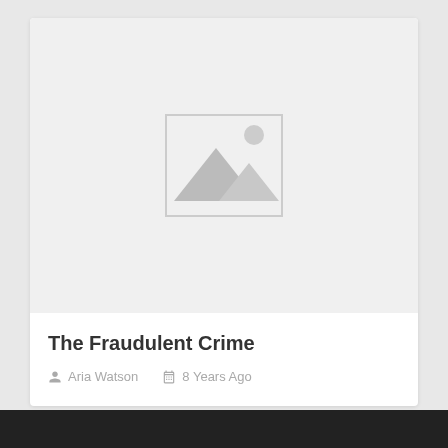[Figure (illustration): Placeholder image thumbnail with mountain/landscape icon inside a light gray bordered box]
The Fraudulent Crime
Aria Watson   8 Years Ago